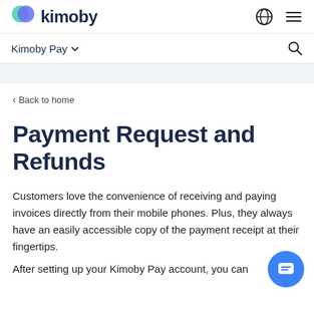kimoby — Kimoby Pay
< Back to home
Payment Request and Refunds
Customers love the convenience of receiving and paying invoices directly from their mobile phones. Plus, they always have an easily accessible copy of the payment receipt at their fingertips.
After setting up your Kimoby Pay account, you can